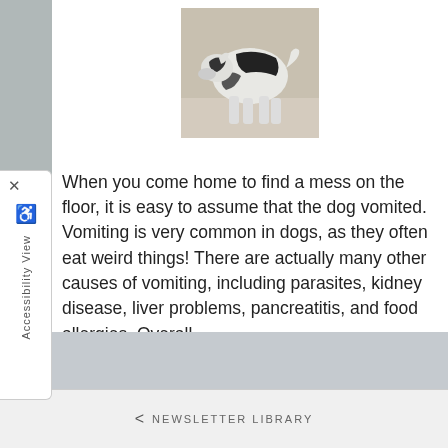[Figure (photo): A black and white dog bending down, photographed outdoors on a light-colored ground]
When you come home to find a mess on the floor, it is easy to assume that the dog vomited. Vomiting is very common in dogs, as they often eat weird things! There are actually many other causes of vomiting, including parasites, kidney disease, liver problems, pancreatitis, and food allergies. Overall,
Read more
NEWSLETTER LIBRARY